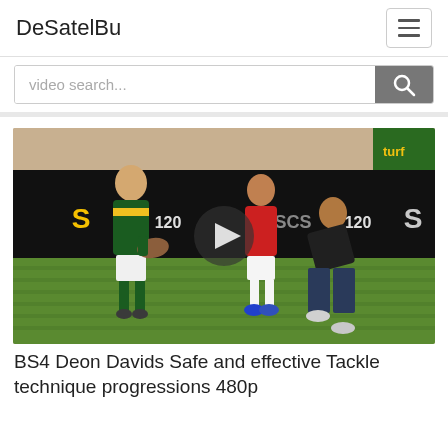DeSatelBu
video search...
[Figure (screenshot): Rugby coaching video thumbnail showing two players in green South African rugby kits and one coach in a red shirt demonstrating a tackle technique on an indoor field. A play button is visible in the center. Sponsor banners visible in the background.]
BS4 Deon Davids Safe and effective Tackle technique progressions 480p